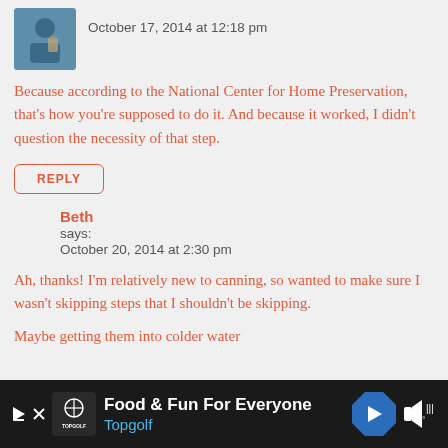[Figure (photo): User avatar photo showing a person with jars, partially visible]
October 17, 2014 at 12:18 pm
Because according to the National Center for Home Preservation, that's how you're supposed to do it. And because it worked, I didn't question the necessity of that step.
REPLY
Beth
says:
October 20, 2014 at 2:30 pm
Ah, thanks! I'm relatively new to canning, so wanted to make sure I wasn't skipping steps that I shouldn't be skipping.
Maybe getting them into colder water
[Figure (infographic): Advertisement banner for Topgolf — black background with logo, text 'Food & Fun For Everyone', blue navigation arrow icon, and mute/sound icon]